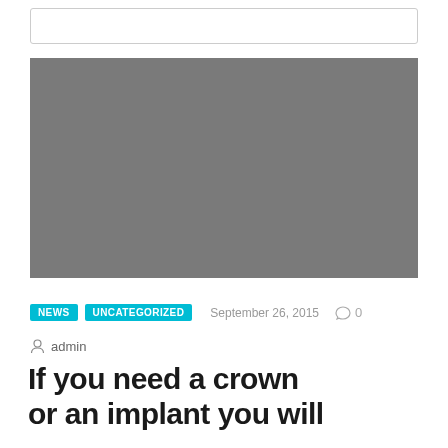[Figure (other): Search bar / input field at top of webpage]
[Figure (photo): Gray placeholder image for article header photo]
NEWS   UNCATEGORIZED   September 26, 2015   0
admin
If you need a crown or an implant you will